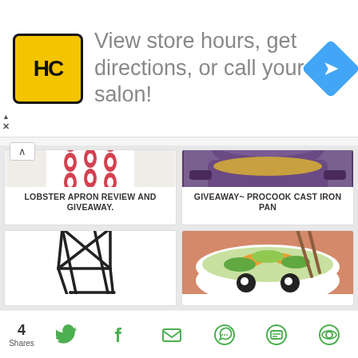[Figure (infographic): Advertisement banner: HC logo (yellow square with HC text), text 'View store hours, get directions, or call your salon!', blue diamond navigation icon]
[Figure (photo): Person wearing a white apron with red lobster pattern]
LOBSTER APRON REVIEW AND GIVEAWAY.
[Figure (photo): Purple cast iron pot/pan on stovetop with food cooking inside]
GIVEAWAY~ PROCOOK CAST IRON PAN
[Figure (photo): Black geometric wire chair/stool structure]
[Figure (photo): White bowl with salad and chopsticks, bowl has eyes drawn on it]
4
Shares